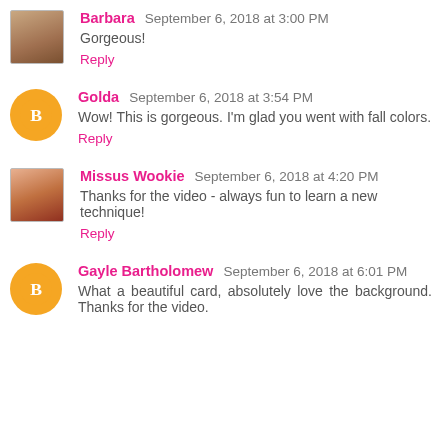Barbara  September 6, 2018 at 3:00 PM
Gorgeous!
Reply
Golda  September 6, 2018 at 3:54 PM
Wow! This is gorgeous. I'm glad you went with fall colors.
Reply
Missus Wookie  September 6, 2018 at 4:20 PM
Thanks for the video - always fun to learn a new technique!
Reply
Gayle Bartholomew  September 6, 2018 at 6:01 PM
What a beautiful card, absolutely love the background. Thanks for the video.